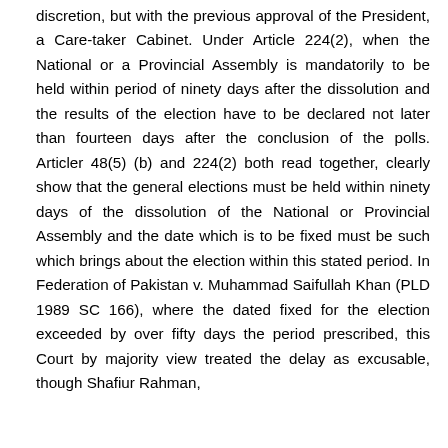discretion, but with the previous approval of the President, a Care-taker Cabinet. Under Article 224(2), when the National or a Provincial Assembly is mandatorily to be held within period of ninety days after the dissolution and the results of the election have to be declared not later than fourteen days after the conclusion of the polls. Articler 48(5) (b) and 224(2) both read together, clearly show that the general elections must be held within ninety days of the dissolution of the National or Provincial Assembly and the date which is to be fixed must be such which brings about the election within this stated period. In Federation of Pakistan v. Muhammad Saifullah Khan (PLD 1989 SC 166), where the dated fixed for the election exceeded by over fifty days the period prescribed, this Court by majority view treated the delay as excusable, though Shafiur Rahman,